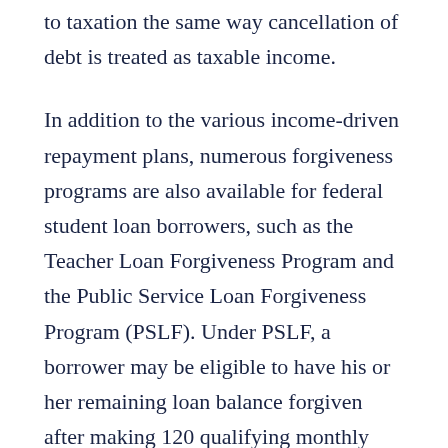to taxation the same way cancellation of debt is treated as taxable income.
In addition to the various income-driven repayment plans, numerous forgiveness programs are also available for federal student loan borrowers, such as the Teacher Loan Forgiveness Program and the Public Service Loan Forgiveness Program (PSLF). Under PSLF, a borrower may be eligible to have his or her remaining loan balance forgiven after making 120 qualifying monthly payments while meeting the applicable criteria, such as working for a qualifying public service